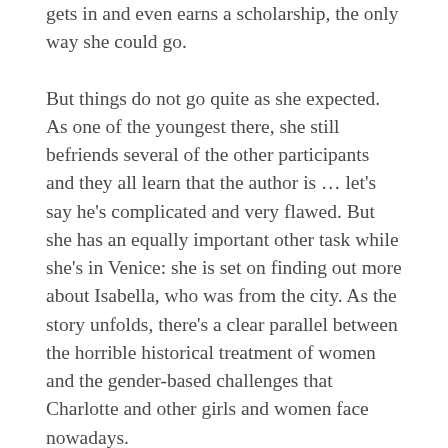gets in and even earns a scholarship, the only way she could go.
But things do not go quite as she expected. As one of the youngest there, she still befriends several of the other participants and they all learn that the author is … let's say he's complicated and very flawed. But she has an equally important other task while she's in Venice: she is set on finding out more about Isabella, who was from the city. As the story unfolds, there's a clear parallel between the horrible historical treatment of women and the gender-based challenges that Charlotte and other girls and women face nowadays.
Caletti tackles another feminist issue in this book without sacrificing story in any way. I loved watching the tale of Isabella unfolding, and Charlotte's story is also beautifully told. Recommended.